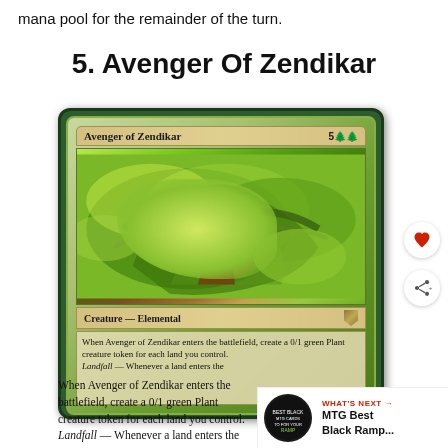mana pool for the remainder of the turn.
5. Avenger Of Zendikar
[Figure (photo): Magic: The Gathering card 'Avenger of Zendikar' showing a large tree elemental creature with twisted roots and vines. Card text reads: Creature — Elemental. When Avenger of Zendikar enters the battlefield, create a 0/1 green Plant creature token for each land you control. Landfall — Whenever a land enters the. Mana cost: 5GG.]
When Avenger of Zendikar enters the battlefield, create a 0/1 green Plant creature token for each land you control.
Landfall — Whenever a land enters the